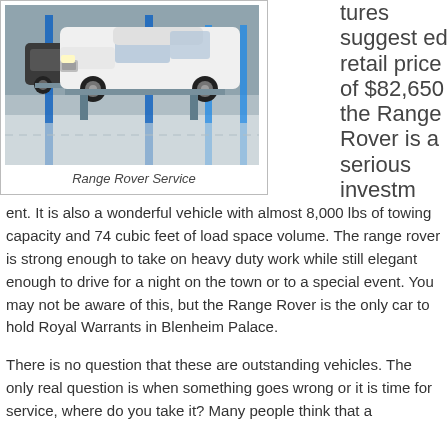[Figure (photo): Photo of a white Range Rover elevated on a hydraulic lift inside an automotive service garage. Another dark SUV is visible in the background also on a lift. Blue lift posts are visible. The garage floor is light grey.]
Range Rover Service
tures suggested retail price of $82,650 the Range Rover is a serious investment. It is also a wonderful vehicle with almost 8,000 lbs of towing capacity and 74 cubic feet of load space volume. The range rover is strong enough to take on heavy duty work while still elegant enough to drive for a night on the town or to a special event. You may not be aware of this, but the Range Rover is the only car to hold Royal Warrants in Blenheim Palace.
There is no question that these are outstanding vehicles. The only real question is when something goes wrong or it is time for service, where do you take it? Many people think that a